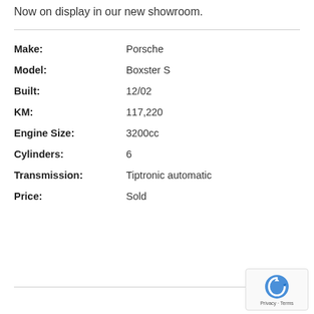Now on display in our new showroom.
| Make: | Porsche |
| Model: | Boxster S |
| Built: | 12/02 |
| KM: | 117,220 |
| Engine Size: | 3200cc |
| Cylinders: | 6 |
| Transmission: | Tiptronic automatic |
| Price: | Sold |